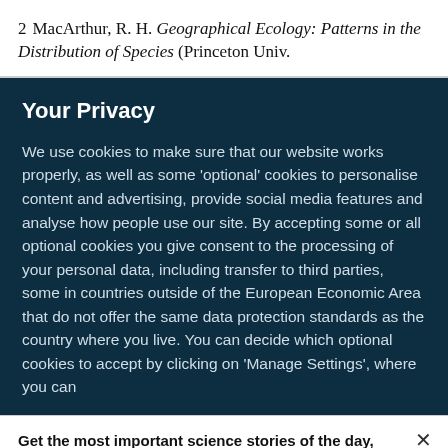2  MacArthur, R. H. Geographical Ecology: Patterns in the Distribution of Species (Princeton Univ.
Your Privacy
We use cookies to make sure that our website works properly, as well as some ‘optional’ cookies to personalise content and advertising, provide social media features and analyse how people use our site. By accepting some or all optional cookies you give consent to the processing of your personal data, including transfer to third parties, some in countries outside of the European Economic Area that do not offer the same data protection standards as the country where you live. You can decide which optional cookies to accept by clicking on ‘Manage Settings’, where you can
Get the most important science stories of the day, free in your inbox.
Sign up for Nature Briefing